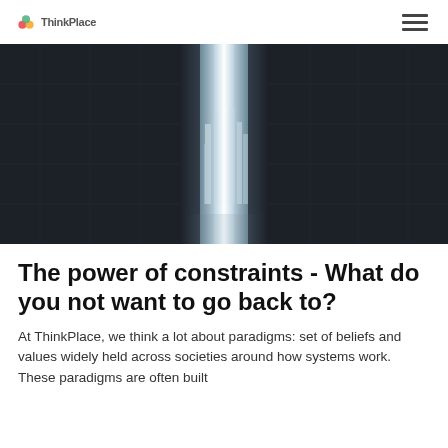ThinkPlace
[Figure (photo): A dramatic photo of a narrow vertical opening in a dark wall revealing a bright city skyline with light flooding through the gap, viewed from a dark interior space.]
The power of constraints - What do you not want to go back to?
At ThinkPlace, we think a lot about paradigms: set of beliefs and values widely held across societies around how systems work. These paradigms are often built